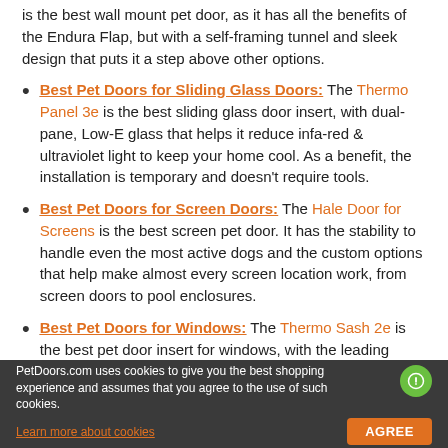is the best wall mount pet door, as it has all the benefits of the Endura Flap, but with a self-framing tunnel and sleek design that puts it a step above other options.
Best Pet Doors for Sliding Glass Doors: The Thermo Panel 3e is the best sliding glass door insert, with dual-pane, Low-E glass that helps it reduce infa-red & ultraviolet light to keep your home cool. As a benefit, the installation is temporary and doesn't require tools.
Best Pet Doors for Screen Doors: The Hale Door for Screens is the best screen pet door. It has the stability to handle even the most active dogs and the custom options that help make almost every screen location work, from screen doors to pool enclosures.
Best Pet Doors for Windows: The Thermo Sash 2e is the best pet door insert for windows, with the leading...
PetDoors.com uses cookies to give you the best shopping experience and assumes that you agree to the use of such cookies. Learn more about cookies